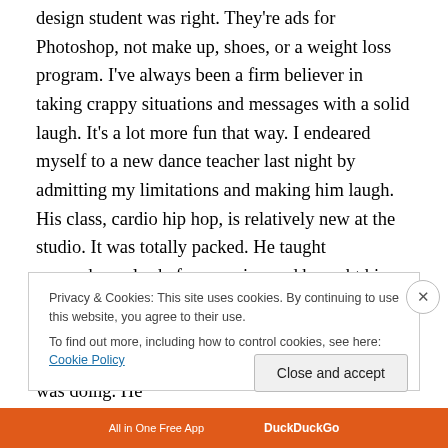design student was right. They're ads for Photoshop, not make up, shoes, or a weight loss program. I've always been a firm believer in taking crappy situations and messages with a solid laugh. It's a lot more fun that way. I endeared myself to a new dance teacher last night by admitting my limitations and making him laugh. His class, cardio hip hop, is relatively new at the studio. It was totally packed. He taught somewhere else before moving and brought his following with him. Last night was the first time I tried the class after seeing it on Black Friday. I scooted toward the back to see what everyone else was doing. He
Privacy & Cookies: This site uses cookies. By continuing to use this website, you agree to their use.
To find out more, including how to control cookies, see here: Cookie Policy
Close and accept